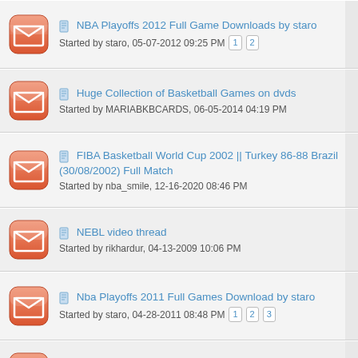NBA Playoffs 2012 Full Game Downloads by staro
Started by staro, 05-07-2012 09:25 PM  1 2
Huge Collection of Basketball Games on dvds
Started by MARIABKBCARDS, 06-05-2014 04:19 PM
FIBA Basketball World Cup 2002 || Turkey 86-88 Brazil (30/08/2002) Full Match
Started by nba_smile, 12-16-2020 08:46 PM
NEBL video thread
Started by rikhardur, 04-13-2009 10:06 PM
Nba Playoffs 2011 Full Games Download by staro
Started by staro, 04-28-2011 08:48 PM  1 2 3
NBA Classic games
Started by kemp, 01-10-2013 03:06 PM